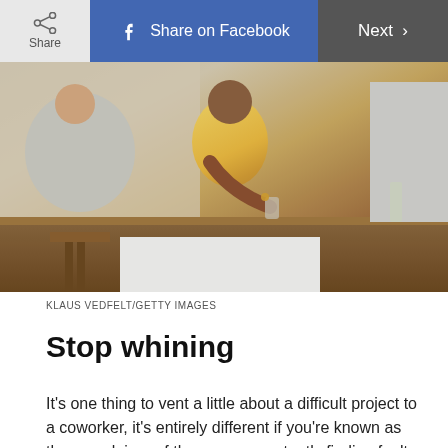Share | Share on Facebook | Next >
[Figure (photo): People sitting at a bar or counter, one person wearing a yellow top holding a drink, another in gray/white clothing, warm interior setting]
KLAUS VEDFELT/GETTY IMAGES
Stop whining
It's one thing to vent a little about a difficult project to a coworker, it's entirely different if you're known as the complainer of the group, constantly finding fault and using it as a way to not do your job. No one wants to be surrounded by your negativity, Hastings says, so if your complaint isn't productive—meaning it leads to an actionable